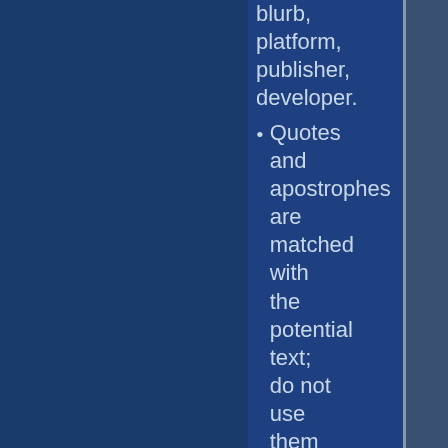blurb, platform, publisher, developer.
Quotes and apostrophes are matched with the potential text; do not use them to limit results as may be done on some other